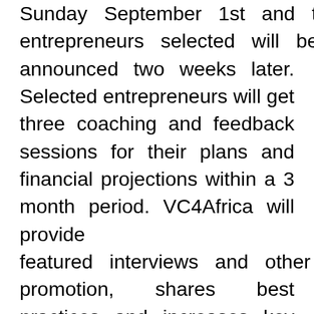Sunday September 1st and the entrepreneurs selected will be announced two weeks later. Selected entrepreneurs will get three coaching and feedback sessions for their plans and financial projections within a 3 month period. VC4Africa will provide featured interviews and other promotion, shares best practices and increases key skills. In addition to that, VC4Africa actively connects with investors that match the entrepreneur's profile, facilitates the introductions and answers initial questions from either party. The final output is a fact sheet the entrepreneur can use for closing a deal.